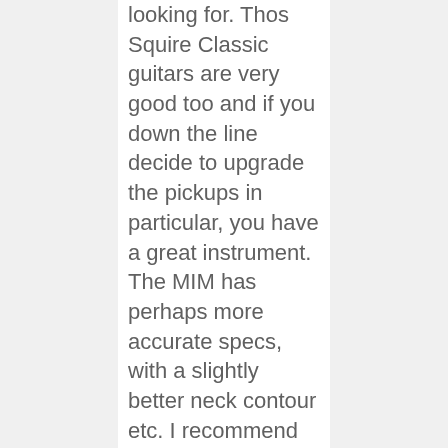looking for. Thos Squire Classic guitars are very good too and if you down the line decide to upgrade the pickups in particular, you have a great instrument. The MIM has perhaps more accurate specs, with a slightly better neck contour etc. I recommend that you try both and decide based on which you like playing. – Bjorn]